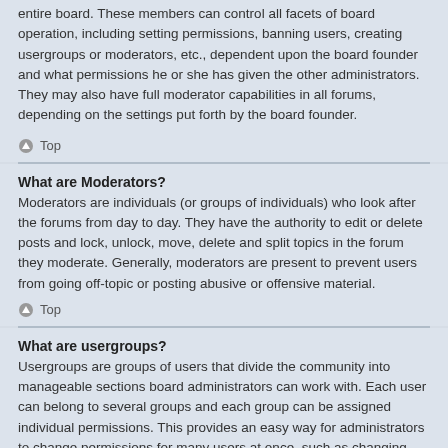entire board. These members can control all facets of board operation, including setting permissions, banning users, creating usergroups or moderators, etc., dependent upon the board founder and what permissions he or she has given the other administrators. They may also have full moderator capabilities in all forums, depending on the settings put forth by the board founder.
Top
What are Moderators?
Moderators are individuals (or groups of individuals) who look after the forums from day to day. They have the authority to edit or delete posts and lock, unlock, move, delete and split topics in the forum they moderate. Generally, moderators are present to prevent users from going off-topic or posting abusive or offensive material.
Top
What are usergroups?
Usergroups are groups of users that divide the community into manageable sections board administrators can work with. Each user can belong to several groups and each group can be assigned individual permissions. This provides an easy way for administrators to change permissions for many users at once, such as changing moderator permissions or granting users access to a private forum.
Top